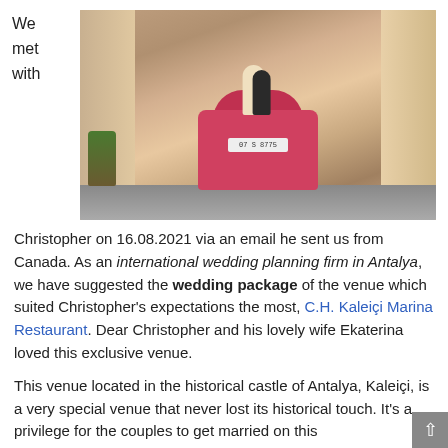We met with
[Figure (photo): A pink/red vintage convertible car driving through a narrow alley between stone buildings in Antalya, Kaleiçi. People are visible in/on the car, one waving. A potted tree is visible on the left side. The car license plate reads 07 S 8775.]
Christopher on 16.08.2021 via an email he sent us from Canada. As an international wedding planning firm in Antalya, we have suggested the wedding package of the venue which suited Christopher's expectations the most, C.H. Kaleiçi Marina Restaurant. Dear Christopher and his lovely wife Ekaterina loved this exclusive venue.
This venue located in the historical castle of Antalya, Kaleiçi, is a very special venue that never lost its historical touch. It's a privilege for the couples to get married on this